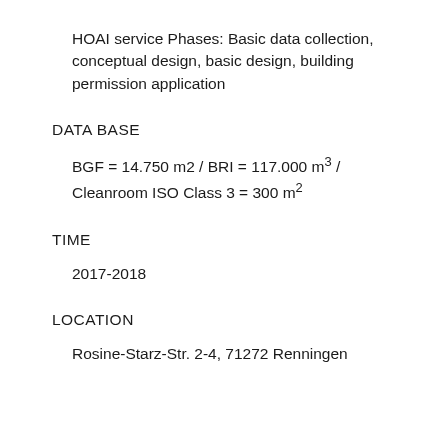HOAI service Phases: Basic data collection, conceptual design, basic design, building permission application
DATA BASE
BGF = 14.750 m2 / BRI = 117.000 m³ / Cleanroom ISO Class 3 = 300 m²
TIME
2017-2018
LOCATION
Rosine-Starz-Str. 2-4, 71272 Renningen